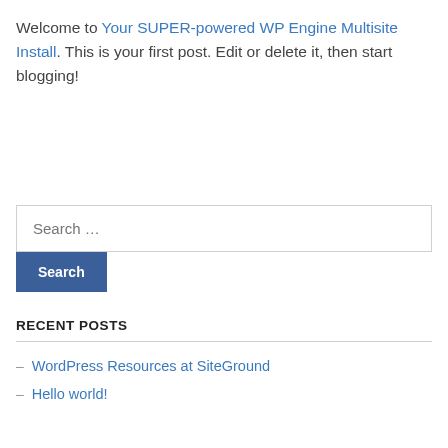Welcome to Your SUPER-powered WP Engine Multisite Install. This is your first post. Edit or delete it, then start blogging!
Search …
Search
RECENT POSTS
– WordPress Resources at SiteGround
– Hello world!